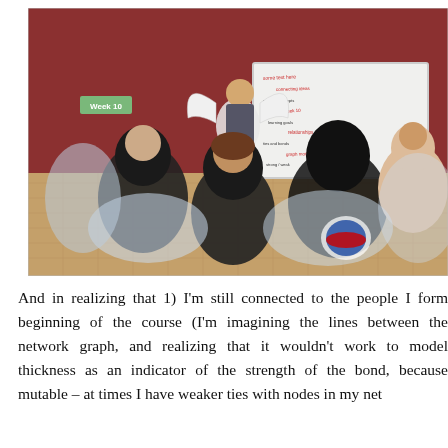[Figure (screenshot): A virtual world (Second Life-style) classroom scene with multiple avatars seated in a circle around a whiteboard. The whiteboard reads 'Week 10' and has red and black text written on it. Avatars include characters with wings, dark clothing, and fantasy appearances, arranged in a meeting/discussion setting.]
And in realizing that 1) I'm still connected to the people I form beginning of the course (I'm imagining the lines between the network graph, and realizing that it wouldn't work to model thickness as an indicator of the strength of the bond, because mutable – at times I have weaker ties with nodes in my net